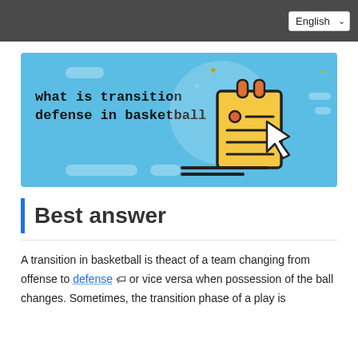English
[Figure (illustration): Blue banner image with bold text 'what is transition defense in basketball' on the left and a notebook/notepad icon with a cursor arrow on the right, on a light blue background with decorative pill shapes.]
Best answer
A transition in basketball is theact of a team changing from offense to defense 🏷 or vice versa when possession of the ball changes. Sometimes, the transition phase of a play is